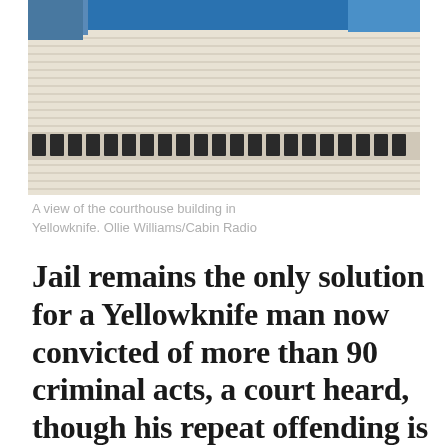[Figure (photo): A view of the courthouse building in Yellowknife, showing its distinctive ribbed white facade and rows of windows against a blue sky.]
A view of the courthouse building in Yellowknife. Ollie Williams/Cabin Radio
Jail remains the only solution for a Yellowknife man now convicted of more than 90 criminal acts, a court heard, though his repeat offending is linked to significant mental health issues.